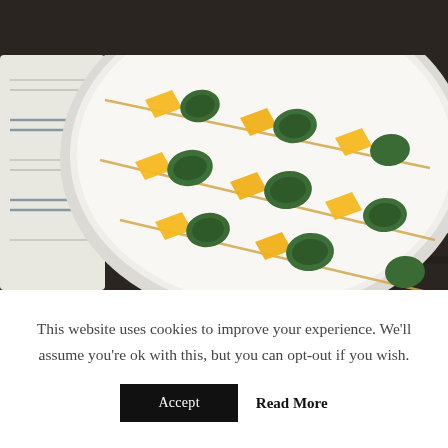[Figure (photo): A white plate viewed from above, with skewers holding alternating mango chunks and folded dark green basil leaves arranged diagonally. A white and grey striped cloth napkin is visible on the left. The plate sits on a dark wooden surface.]
This website uses cookies to improve your experience. We'll assume you're ok with this, but you can opt-out if you wish.
Accept
Read More